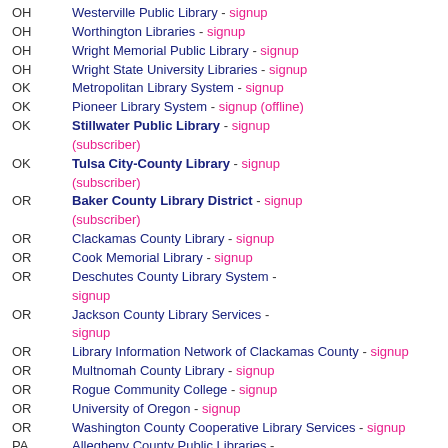OH  Westerville Public Library - signup
OH  Worthington Libraries - signup
OH  Wright Memorial Public Library - signup
OH  Wright State University Libraries - signup
OK  Metropolitan Library System - signup
OK  Pioneer Library System - signup (offline)
OK  Stillwater Public Library - signup (subscriber)
OK  Tulsa City-County Library - signup (subscriber)
OR  Baker County Library District - signup (subscriber)
OR  Clackamas County Library - signup
OR  Cook Memorial Library - signup
OR  Deschutes County Library System - signup
OR  Jackson County Library Services - signup
OR  Library Information Network of Clackamas County - signup
OR  Multnomah County Library - signup
OR  Rogue Community College - signup
OR  University of Oregon - signup
OR  Washington County Cooperative Library Services - signup
PA  Allegheny County Public Libraries - signup
PA  Berks County Public Libraries - signup
PA  Bucks County Public Library - signup